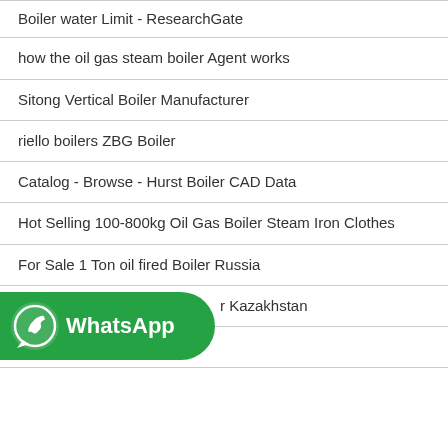Boiler water Limit - ResearchGate
how the oil gas steam boiler Agent works
Sitong Vertical Boiler Manufacturer
riello boilers ZBG Boiler
Catalog - Browse - Hurst Boiler CAD Data
Hot Selling 100-800kg Oil Gas Boiler Steam Iron Clothes
For Sale 1 Ton oil fired Boiler Russia
r Kazakhstan
Industrial boiler for drying
[Figure (logo): WhatsApp button overlay with green rounded rectangle, WhatsApp phone icon and bold white text 'WhatsApp']